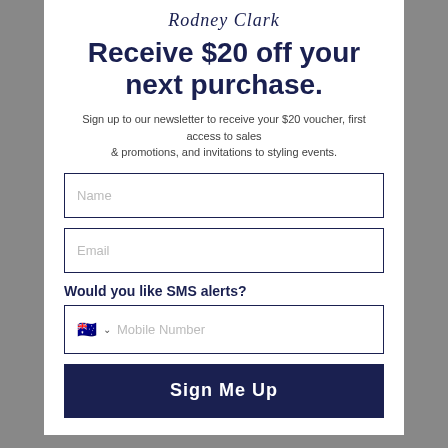Rodney Clark
Receive $20 off your next purchase.
Sign up to our newsletter to receive your $20 voucher, first access to sales & promotions, and invitations to styling events.
Name
Email
Would you like SMS alerts?
Mobile Number
Sign Me Up